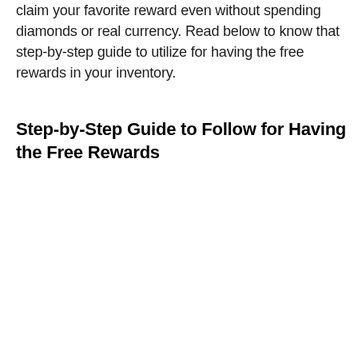claim your favorite reward even without spending diamonds or real currency. Read below to know that step-by-step guide to utilize for having the free rewards in your inventory.
Step-by-Step Guide to Follow for Having the Free Rewards